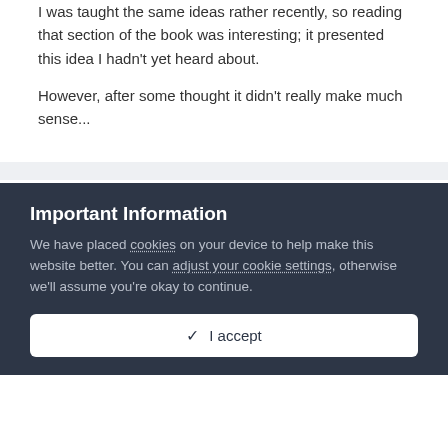I was taught the same ideas rather recently, so reading that section of the book was interesting; it presented this idea I hadn't yet heard about.
However, after some thought it didn't really make much sense...
Pangloss
Posted July 14, 2008
Apparently this is a long-standing debate. I found a great overview of the issue in this article that I found via the Wikipedia article on Bernoulli's Principle, which looks at the issue from the perspective of aircraft pilots:
Important Information
We have placed cookies on your device to help make this website better. You can adjust your cookie settings, otherwise we'll assume you're okay to continue.
✓  I accept